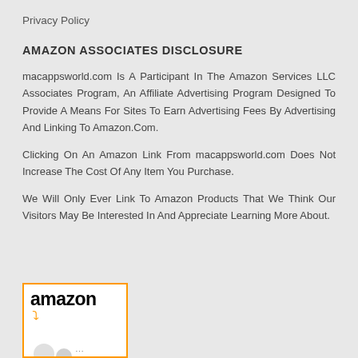Privacy Policy
AMAZON ASSOCIATES DISCLOSURE
macappsworld.com Is A Participant In The Amazon Services LLC Associates Program, An Affiliate Advertising Program Designed To Provide A Means For Sites To Earn Advertising Fees By Advertising And Linking To Amazon.Com.
Clicking On An Amazon Link From macappsworld.com Does Not Increase The Cost Of Any Item You Purchase.
We Will Only Ever Link To Amazon Products That We Think Our Visitors May Be Interested In And Appreciate Learning More About.
[Figure (logo): Amazon logo in orange border box with airpods image below]